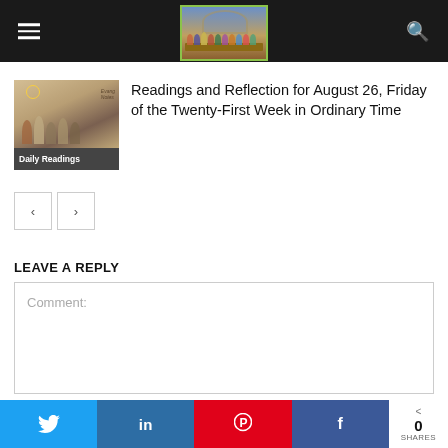Navigation header with logo (Last Supper image), hamburger menu, and search icon
[Figure (illustration): Thumbnail image of religious painting (Daily Readings) with caption 'Daily Readings']
Readings and Reflection for August 26, Friday of the Twenty-First Week in Ordinary Time
< >  pagination buttons
LEAVE A REPLY
Comment:
Social share bar: Twitter, LinkedIn, Pinterest, Facebook. 0 SHARES